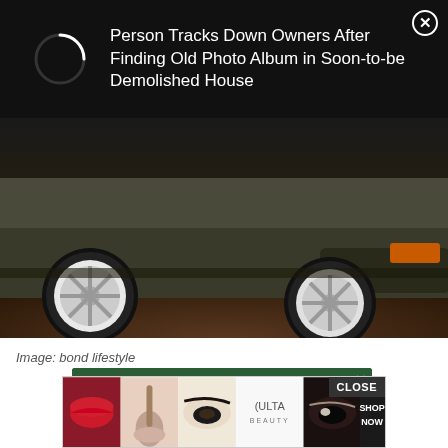[Figure (other): Dark overlay ad notification: loading spinner circle on left, headline text 'Person Tracks Down Owners After Finding Old Photo Album in Soon-to-be Demolished House' on right, X close button top-right]
[Figure (photo): Close-up photo of the rear corner of a dark vintage car showing wheel, hubcap, and bumper on a brown floor]
Image: bond lifestyle
[Figure (other): TABC Classroom Edition ad on green background promoting 'Exclusive literary classes for teen writers!' with Learn More button and crowd photo below]
[Figure (other): Ulta Beauty advertisement showing makeup images (lips, brush, eye, logo, smoky eye) with CLOSE bar and SHOP NOW button]